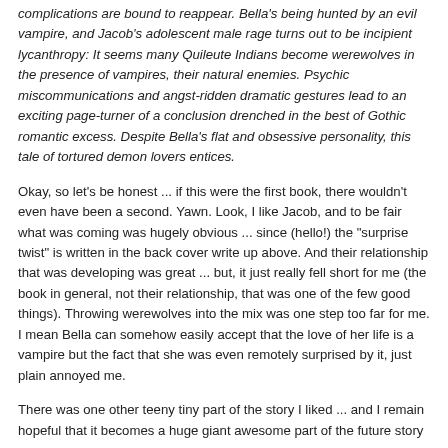complications are bound to reappear. Bella's being hunted by an evil vampire, and Jacob's adolescent male rage turns out to be incipient lycanthropy: It seems many Quileute Indians become werewolves in the presence of vampires, their natural enemies. Psychic miscommunications and angst-ridden dramatic gestures lead to an exciting page-turner of a conclusion drenched in the best of Gothic romantic excess. Despite Bella's flat and obsessive personality, this tale of tortured demon lovers entices.
Okay, so let's be honest ... if this were the first book, there wouldn't even have been a second. Yawn. Look, I like Jacob, and to be fair what was coming was hugely obvious ... since (hello!) the "surprise twist" is written in the back cover write up above. And their relationship that was developing was great ... but, it just really fell short for me (the book in general, not their relationship, that was one of the few good things). Throwing werewolves into the mix was one step too far for me. I mean Bella can somehow easily accept that the love of her life is a vampire but the fact that she was even remotely surprised by it, just plain annoyed me.
There was one other teeny tiny part of the story I liked ... and I remain hopeful that it becomes a huge giant awesome part of the future story